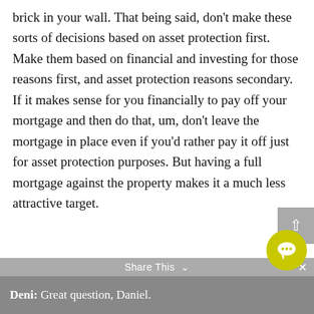brick in your wall. That being said, don't make these sorts of decisions based on asset protection first. Make them based on financial and investing for those reasons first, and asset protection reasons secondary. If it makes sense for you financially to pay off your mortgage and then do that, um, don't leave the mortgage in place even if you'd rather pay it off just for asset protection purposes. But having a full mortgage against the property makes it a much less attractive target.
Deni: Great question, Daniel.